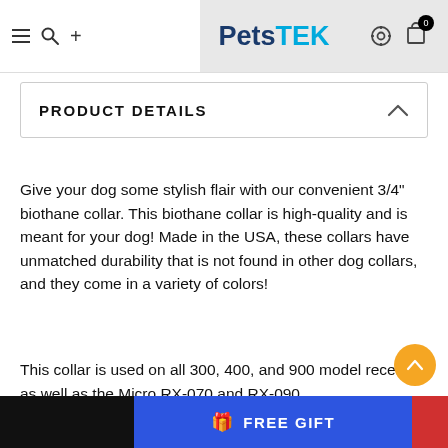PetsTEK — ADD TO CART navigation bar with hamburger menu, search, logo, settings and cart icons
PRODUCT DETAILS
Give your dog some stylish flair with our convenient 3/4" biothane collar. This biothane collar is high-quality and is meant for your dog! Made in the USA, these collars have unmatched durability that is not found in other dog collars, and they come in a variety of colors!
This collar is used on all 300, 400, and 900 model receivers as well as the Micro RX-070 and RX-090.
Fits on neck sizes between 5 inches to 22 1/2 inches
FREE GIFT